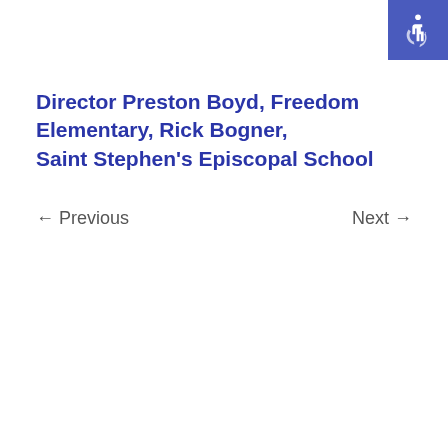[Figure (logo): Accessibility icon - wheelchair symbol on blue background, top right corner]
Director Preston Boyd, Freedom Elementary, Rick Bogner, Saint Stephen's Episcopal School
← Previous
Next →